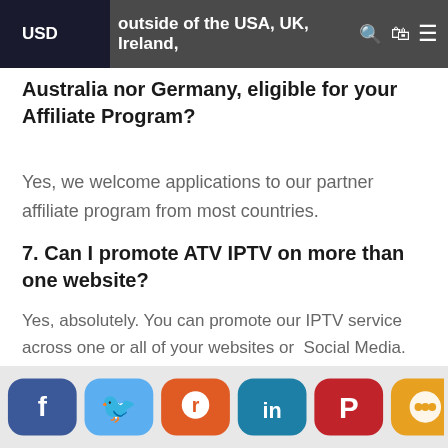USD | outside of the USA, UK, Ireland, Australia nor Germany, eligible for your Affiliate Program?
Yes, we welcome applications to our partner affiliate program from most countries.
7. Can I promote ATV IPTV on more than one website?
Yes, absolutely. You can promote our IPTV service across one or all of your websites or Social Media. The more links and content you place on your websites, the more qualified visitors you're likely to send us — and this should translate into a higher conversion.
[Figure (infographic): Social media share buttons: Facebook (dark blue), Twitter (light blue), Reddit (orange), LinkedIn (teal), Pinterest (red), Chat/other (gold/green)]